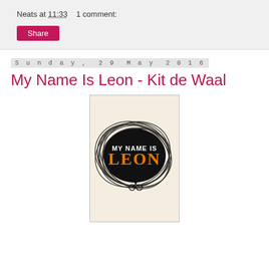Neats at 11:33    1 comment:
Share
Sunday, 29 May 2016
My Name Is Leon - Kit de Waal
[Figure (illustration): Book cover of 'My Name Is Leon' by Kit de Waal. Cream/off-white background with a large black scribbled oval shape in the center. Inside the oval the text 'MY NAME IS' appears in white, and 'LEON' appears in large orange letters. At the bottom of the oval, a small silhouette of a child on a bicycle is visible.]